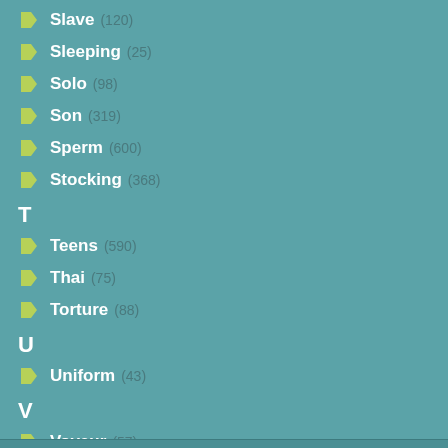Slave (120)
Sleeping (25)
Solo (98)
Son (319)
Sperm (600)
Stocking (368)
T
Teens (590)
Thai (75)
Torture (88)
U
Uniform (43)
V
Voyeur (57)
W
Webcam (40)